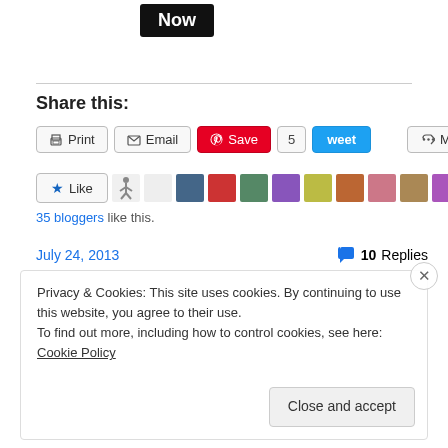[Figure (screenshot): Black 'Now' button at the top of the page]
Share this:
[Figure (screenshot): Row of sharing buttons: Print, Email, Save (Pinterest), 5 (tweet count), Tweet, More]
[Figure (screenshot): Like button with star icon followed by a row of avatar thumbnails for 35 bloggers]
35 bloggers like this.
July 24, 2013
10 Replies
Privacy & Cookies: This site uses cookies. By continuing to use this website, you agree to their use.
To find out more, including how to control cookies, see here: Cookie Policy
Close and accept